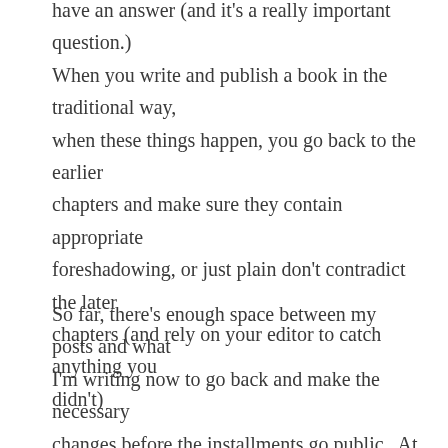have an answer (and it's a really important question.)  When you write and publish a book in the traditional way, when these things happen, you go back to the earlier chapters and make sure they contain appropriate foreshadowing, or just plain don't contradict the later chapters (and rely on your editor to catch anything you didn't)
So far, there's enough space between my posts and what I'm writing now to go back and make the necessary changes before the installments go public.  At some point, that may not be the case.  I haven't quite decided how to handle it – I could go back and change the earlier installment.  I could leave it alone, or add a postscript to the installment explaining.